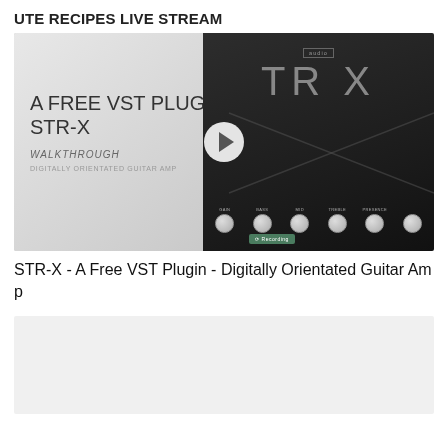UTE RECIPES LIVE STREAM
[Figure (screenshot): Video thumbnail for STR-X VST plugin walkthrough. Left half shows light gray background with text 'A FREE VST PLUGIN STR-X', 'WALKTHROUGH', 'DIGITALLY ORIENTATED GUITAR AMP'. Right half shows dark guitar amp UI with 'TR X' logo and knobs labeled GAIN, BASS, MID, TREBLE, PRESENCE. A white circular play button overlays the center.]
STR-X - A Free VST Plugin - Digitally Orientated Guitar Amp